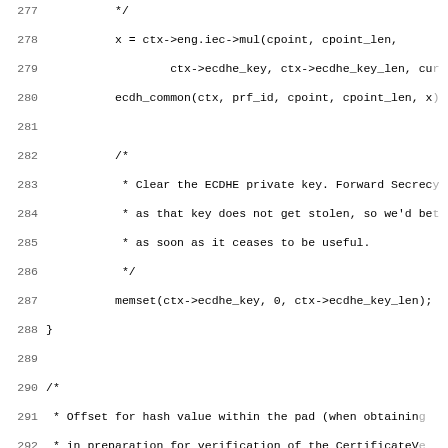[Figure (screenshot): Source code listing in C showing lines 277-308, including ECDHE key handling, hash pad offsets, and hash OID definitions for SHA1 and SHA224.]